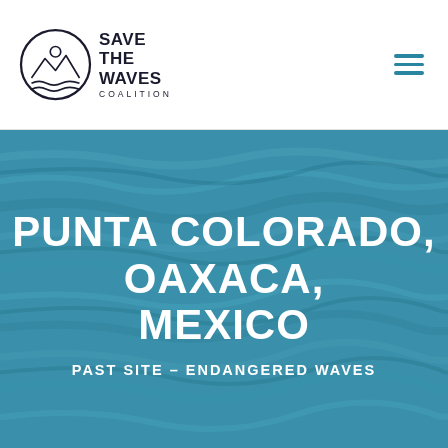[Figure (logo): Save The Waves Coalition circular logo with mountain and wave illustration, alongside text 'SAVE THE WAVES COALITION']
[Figure (illustration): Hamburger menu icon with three horizontal teal lines]
[Figure (photo): Ocean wave texture background in teal/blue tones]
PUNTA COLORADO, OAXACA, MEXICO
PAST SITE – ENDANGERED WAVES